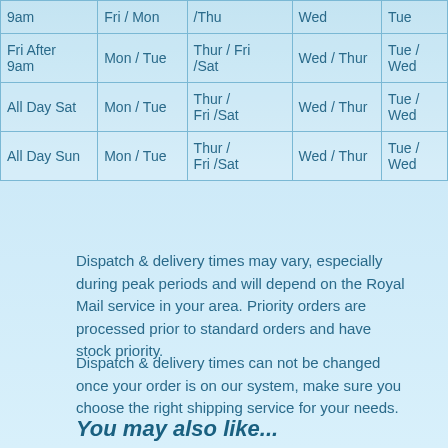|  |  |  |  |  |
| --- | --- | --- | --- | --- |
| 9am | Fri / Mon | /Thu | Wed | Tue |
| Fri After 9am | Mon / Tue | Thur / Fri /Sat | Wed / Thur | Tue / Wed |
| All Day Sat | Mon / Tue | Thur / Fri /Sat | Wed / Thur | Tue / Wed |
| All Day Sun | Mon / Tue | Thur / Fri /Sat | Wed / Thur | Tue / Wed |
Dispatch & delivery times may vary, especially during peak periods and will depend on the Royal Mail service in your area. Priority orders are processed prior to standard orders and have stock priority.
Dispatch & delivery times can not be changed once your order is on our system, make sure you choose the right shipping service for your needs.
You may also like...